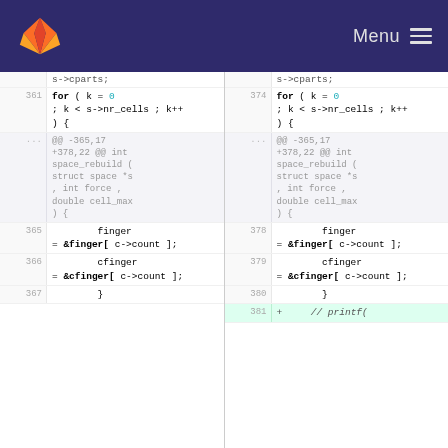GitLab — Menu
[Figure (screenshot): Code diff view showing two panes of C source code with line numbers, featuring for loops, finger/cfinger assignments, and a new printf line added (line 381).]